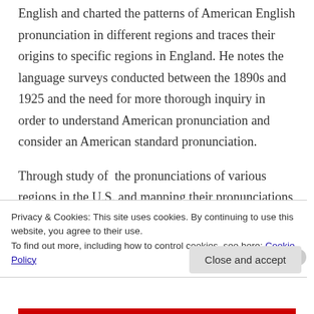English and charted the patterns of American English pronunciation in different regions and traces their origins to specific regions in England. He notes the language surveys conducted between the 1890s and 1925 and the need for more thorough inquiry in order to understand American pronunciation and consider an American standard pronunciation.
Through study of the pronunciations of various regions in the U.S. and mapping their pronunciations onto particular regions in England, Kurath challenged assumptions made by Krapp (1925), including the existence of a generalized
Privacy & Cookies: This site uses cookies. By continuing to use this website, you agree to their use.
To find out more, including how to control cookies, see here: Cookie Policy
Close and accept